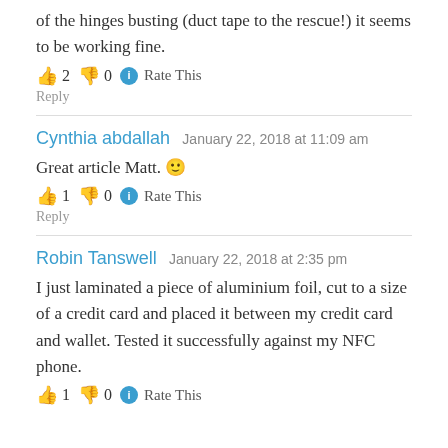of the hinges busting (duct tape to the rescue!) it seems to be working fine.
👍 2 👎 0 ℹ Rate This
Reply
Cynthia abdallah   January 22, 2018 at 11:09 am
Great article Matt. 🙂
👍 1 👎 0 ℹ Rate This
Reply
Robin Tanswell   January 22, 2018 at 2:35 pm
I just laminated a piece of aluminium foil, cut to a size of a credit card and placed it between my credit card and wallet. Tested it successfully against my NFC phone.
👍 1 👎 0 ℹ Rate This